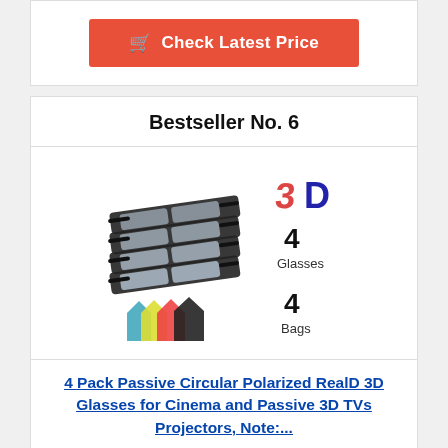[Figure (other): Red 'Check Latest Price' button with shopping cart icon at top of page]
Bestseller No. 6
[Figure (photo): Product photo showing 4 pack passive circular polarized 3D glasses stacked, with '3D' logo, '4 Glasses' label, and 4 colored storage bags with '4 Bags' label]
4 Pack Passive Circular Polarized RealD 3D Glasses for Cinema and Passive 3D TVs Projectors, Note:...
[Figure (other): Red 'Check Latest Price' button with shopping cart icon at bottom of page]